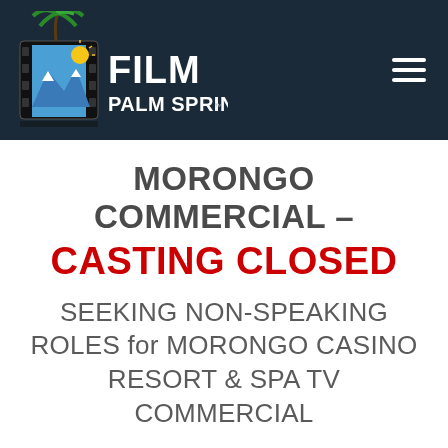[Figure (logo): Film Palm Springs logo with palm tree and film strip graphic on dark navy background, with hamburger menu icon on the right]
MORONGO COMMERCIAL – CASTING CLOSED
SEEKING NON-SPEAKING ROLES for MORONGO CASINO RESORT & SPA TV COMMERCIAL